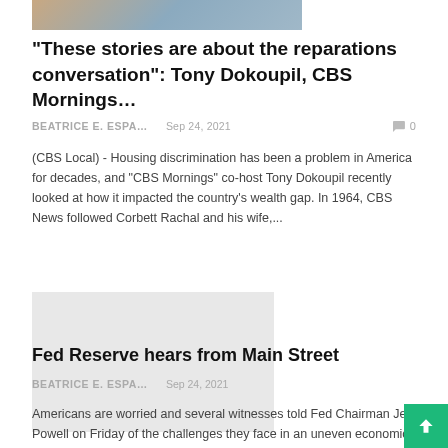[Figure (photo): Cropped photo showing people at a table, partially visible at top of page]
“These stories are about the reparations conversation”: Tony Dokoupil, CBS Mornings…
BEATRICE E. ESPA…   Sep 24, 2021   💬 0
(CBS Local) - Housing discrimination has been a problem in America for decades, and "CBS Mornings" co-host Tony Dokoupil recently looked at how it impacted the country's wealth gap. In 1964, CBS News followed Corbett Rachal and his wife,...
[Figure (screenshot): Thumbnail image with green label reading MINNEAPOLIS MORTG... over a light gray/green background]
Fed Reserve hears from Main Street
BEATRICE E. ESPA…   Sep 24, 2021   💬 0
Americans are worried and several witnesses told Fed Chairman Je Powell on Friday of the challenges they face in an uneven economic